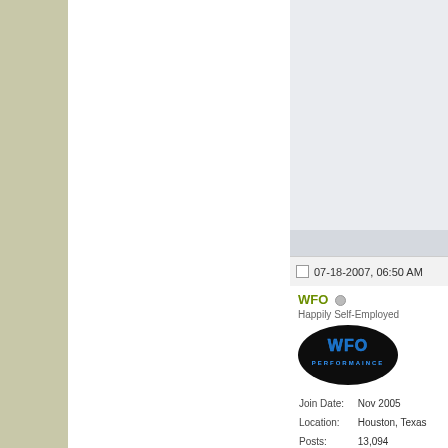07-18-2007, 06:50 AM
WFO
Happily Self-Employed
[Figure (logo): WFO Performaince oval logo on black background with blue and white stylized text]
| Join Date: | Nov 2005 |
| Location: | Houston, Texas |
| Posts: | 13,094 |
| +1: | 512 |